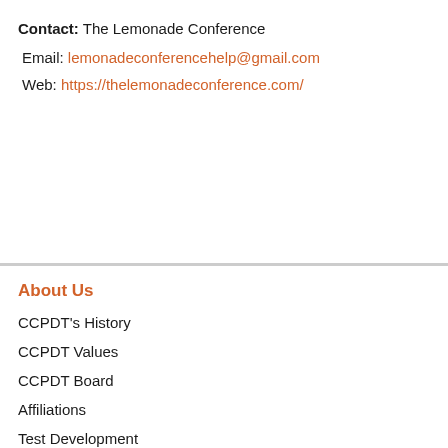Contact: The Lemonade Conference
Email: lemonadeconferencehelp@gmail.com
Web: https://thelemonadeconference.com/
About Us
CCPDT's History
CCPDT Values
CCPDT Board
Affiliations
Test Development
Volunteer
Public Policies
Media Center